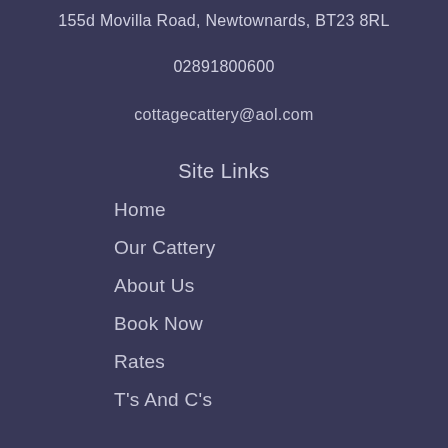155d Movilla Road, Newtownards, BT23 8RL
02891800600
cottagecattery@aol.com
Site Links
Home
Our Cattery
About Us
Book Now
Rates
T's And C's